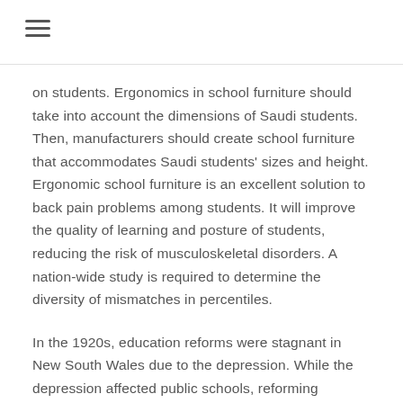≡
on students. Ergonomics in school furniture should take into account the dimensions of Saudi students. Then, manufacturers should create school furniture that accommodates Saudi students' sizes and height. Ergonomic school furniture is an excellent solution to back pain problems among students. It will improve the quality of learning and posture of students, reducing the risk of musculoskeletal disorders. A nation-wide study is required to determine the diversity of mismatches in percentiles.
In the 1920s, education reforms were stagnant in New South Wales due to the depression. While the depression affected public schools, reforming educators continued to focus on ergonomics in school furniture. Henry Eastman Bennett, a renowned physiologist, published his study School